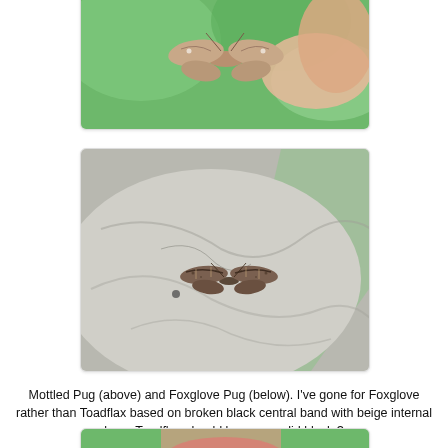[Figure (photo): Mottled Pug moth held between fingers against green bokeh background]
[Figure (photo): Foxglove Pug moth resting on a grey crumpled paper surface against green background]
Mottled Pug (above) and Foxglove Pug (below). I've gone for Foxglove rather than Toadflax based on broken black central band with beige internal bars. Toadflax should be more solid black ?
[Figure (photo): Partial view of another moth photo, bottom of page, cropped]